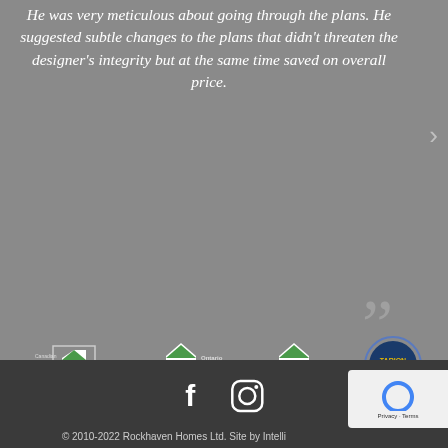He was very meticulous about going through the plans. He suggested subtle changes to the plans that didn't threaten the designer's integrity but at the same time saved on overall price.
[Figure (logo): Four association logos: Canadian Home Builders Association, Ontario Home Builders Association, Greater Durham Home Builders Association, Tarion warranty logo]
[Figure (logo): Facebook and Instagram social media icons]
© 2010-2022 Rockhaven Homes Ltd. Site by Intelli
[Figure (other): reCAPTCHA badge with Privacy and Terms links]